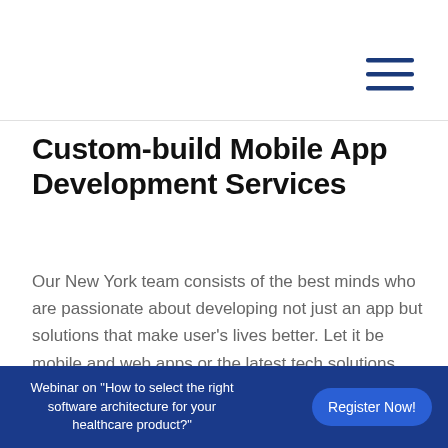[Figure (other): Hamburger menu icon with three horizontal blue lines in top-right of header area]
Custom-build Mobile App Development Services
Our New York team consists of the best minds who are passionate about developing not just an app but solutions that make user's lives better. Let it be mobile and web apps or the latest tech solutions including IoT, BLE, or Messenger Chatbots, we have always followed
Webinar on "How to select the right software architecture for your healthcare product?" Register Now!